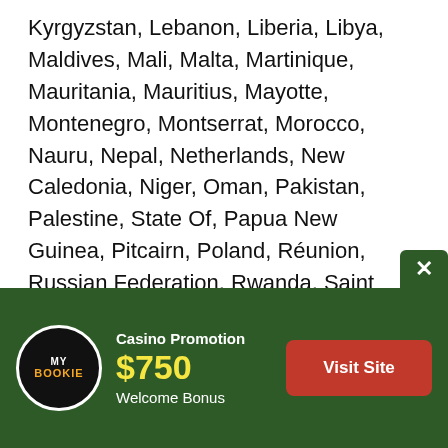Kyrgyzstan, Lebanon, Liberia, Libya, Maldives, Mali, Malta, Martinique, Mauritania, Mauritius, Mayotte, Montenegro, Montserrat, Morocco, Nauru, Nepal, Netherlands, New Caledonia, Niger, Oman, Pakistan, Palestine, State Of, Papua New Guinea, Pitcairn, Poland, Réunion, Russian Federation, Rwanda, Saint Helena, Ascension And Tristan Da Cunha, St Martin (French Part), Saint Pierre And Miquelon, Sao Tome And Principe, Saudi Arabia, Serbia, Seychelles, Sierra Leone, Somalia, South Sudan, Spain, Sudan, Svalbard And Jan Mayen, Syrian Arab Republic, Tajikistan
[Figure (infographic): Casino promotion banner for MyBookie with dark green background. Shows MyBookie logo (black circle with white border), 'Casino Promotion' label, '$750' bonus amount in yellow, 'Welcome Bonus' text in white, and a red 'Visit Site' button. An X close button appears in the top-right corner of the banner.]